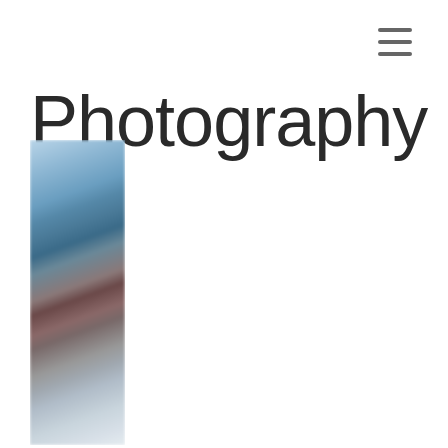≡
Photography
[Figure (photo): Blurred vertical photograph showing a snowy mountain scene with blue tones at top and darker tones below, partially cropped on left side of page]